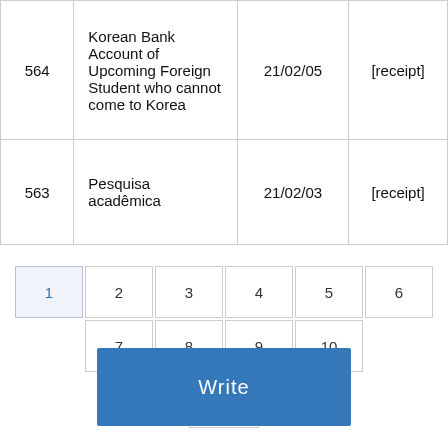|  |  |  |  |
| --- | --- | --- | --- |
| 564 | Korean Bank Account of Upcoming Foreign Student who cannot come to Korea | 21/02/05 | [receipt] |
| 563 | Pesquisa acadêmica | 21/02/03 | [receipt] |
Pagination: 1 2 3 4 5 6 7 8 9 10 (11)
Write